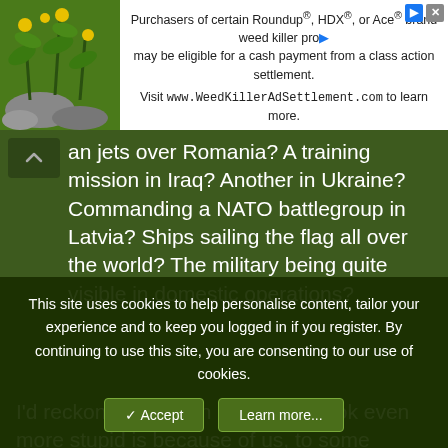[Figure (screenshot): Advertisement banner for WeedKillerAdSettlement.com showing plant image on left and text about Roundup, HDX, or Ace brand weed killer class action settlement]
an jets over Romania? A training mission in Iraq? Another in Ukraine? Commanding a NATO battlegroup in Latvia? Ships sailing the flag all over the world? The military being quite visible in domestic operations?

I'd reckon the reason he doesn't look even more stupid is because of us, to some degree 🤷‍♂
0.02
Humphrey Bogart, Rifleman62, FSTO and 2 others
This site uses cookies to help personalise content, tailor your experience and to keep you logged in if you register.
By continuing to use this site, you are consenting to our use of cookies.
✓ Accept   Learn more...